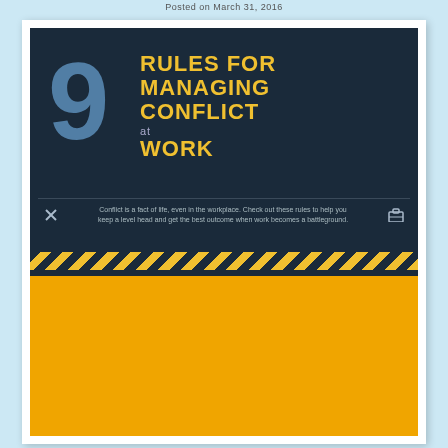Posted on March 31, 2016
[Figure (infographic): Infographic titled '9 Rules for Managing Conflict at Work'. Shows a large numeral 9, the title in yellow text on dark navy background. Subtitle: 'Conflict is a fact of life, even in the workplace. Check out these rules to help you keep a level head and get the best outcome when work becomes a battleground.' Hazard stripe divider. Rule 1: Recognize That Conflict Will Happen. A 2008 international study by CPP, Inc. showed that: 85% of employees have to deal with conflict to some degree. In the U.S., 36% 'Always' or 'frequently'. Causes can be: 49% Personality clashes and warring egos, 33% Heavy workloads, 34% teams. Bottom strip: 2.8 HOURS and 385 MILLION.]